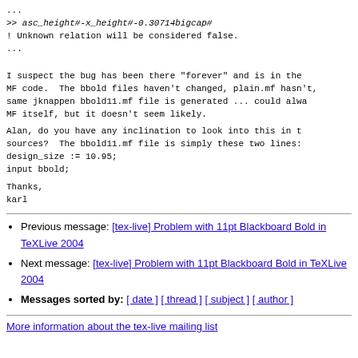...
>> asc_height#-x_height#-0.30714bigcap#
! Unknown relation will be considered false.
...
I suspect the bug has been there "forever" and is in the MF code.  The bbold files haven't changed, plain.mf hasn't, same jknappen bbold11.mf file is generated ... could always be MF itself, but it doesn't seem likely.
Alan, do you have any inclination to look into this in the sources?  The bbold11.mf file is simply these two lines:
design_size := 10.95;
input bbold;
Thanks,
karl
Previous message: [tex-live] Problem with 11pt Blackboard Bold in TeXLive 2004
Next message: [tex-live] Problem with 11pt Blackboard Bold in TeXLive 2004
Messages sorted by: [ date ] [ thread ] [ subject ] [ author ]
More information about the tex-live mailing list